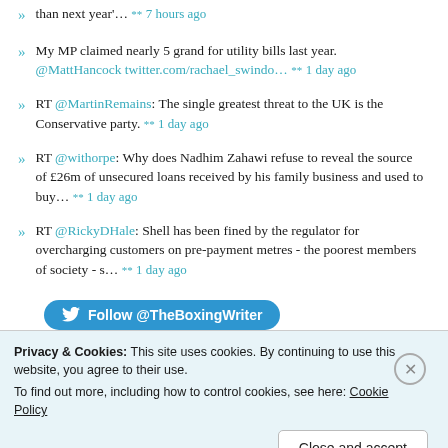than next year'... ** 7 hours ago
My MP claimed nearly 5 grand for utility bills last year. @MattHancock twitter.com/rachael_swindo... ** 1 day ago
RT @MartinRemains: The single greatest threat to the UK is the Conservative party. ** 1 day ago
RT @withorpe: Why does Nadhim Zahawi refuse to reveal the source of £26m of unsecured loans received by his family business and used to buy... ** 1 day ago
RT @RickyDHale: Shell has been fined by the regulator for overcharging customers on pre-payment metres - the poorest members of society - s... ** 1 day ago
[Figure (other): Follow @TheBoxingWriter Twitter button]
Privacy & Cookies: This site uses cookies. By continuing to use this website, you agree to their use. To find out more, including how to control cookies, see here: Cookie Policy
Close and accept